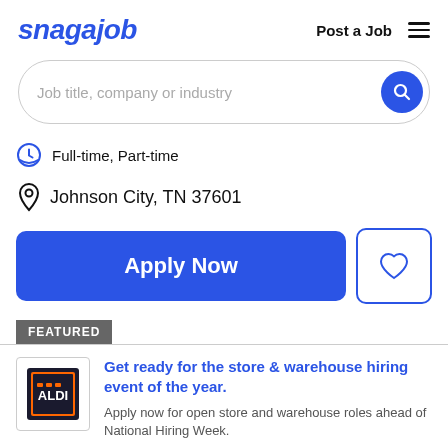snagajob | Post a Job
[Figure (screenshot): Search bar with placeholder text 'Job title, company or industry' and a blue search button]
Full-time, Part-time
Johnson City, TN 37601
Apply Now
FEATURED
Get ready for the store & warehouse hiring event of the year.
Apply now for open store and warehouse roles ahead of National Hiring Week.